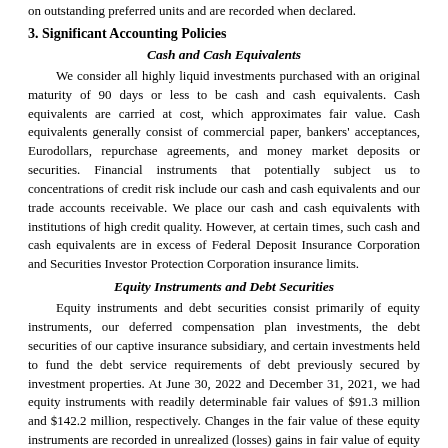on outstanding preferred units and are recorded when declared.
3. Significant Accounting Policies
Cash and Cash Equivalents
We consider all highly liquid investments purchased with an original maturity of 90 days or less to be cash and cash equivalents. Cash equivalents are carried at cost, which approximates fair value. Cash equivalents generally consist of commercial paper, bankers' acceptances, Eurodollars, repurchase agreements, and money market deposits or securities. Financial instruments that potentially subject us to concentrations of credit risk include our cash and cash equivalents and our trade accounts receivable. We place our cash and cash equivalents with institutions of high credit quality. However, at certain times, such cash and cash equivalents are in excess of Federal Deposit Insurance Corporation and Securities Investor Protection Corporation insurance limits.
Equity Instruments and Debt Securities
Equity instruments and debt securities consist primarily of equity instruments, our deferred compensation plan investments, the debt securities of our captive insurance subsidiary, and certain investments held to fund the debt service requirements of debt previously secured by investment properties. At June 30, 2022 and December 31, 2021, we had equity instruments with readily determinable fair values of $91.3 million and $142.2 million, respectively. Changes in the fair value of these equity instruments are recorded in unrealized (losses) gains in fair value of equity instruments in our